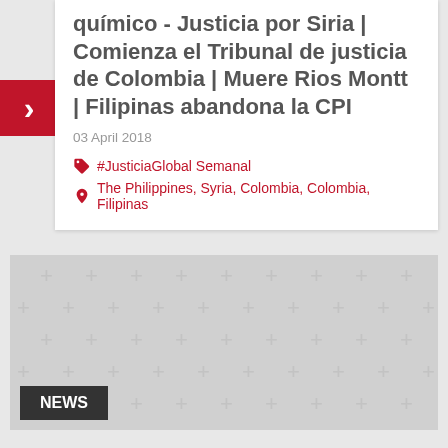químico - Justicia por Siria | Comienza el Tribunal de justicia de Colombia | Muere Rios Montt | Filipinas abandona la CPI
03 April 2018
#JusticiaGlobal Semanal
The Philippines, Syria, Colombia, Colombia, Filipinas
[Figure (photo): Placeholder image with grey plus-sign crosshatch pattern and NEWS label in bottom left]